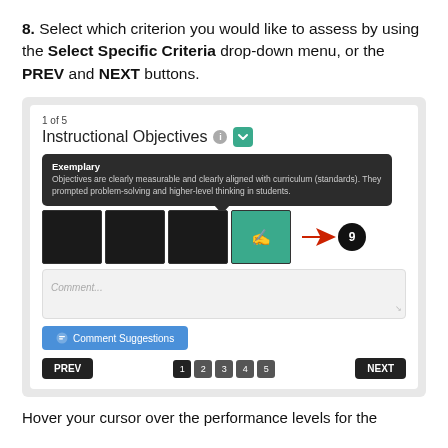8. Select which criterion you would like to assess by using the Select Specific Criteria drop-down menu, or the PREV and NEXT buttons.
[Figure (screenshot): Screenshot of an assessment interface showing 'Instructional Objectives' criterion (1 of 5), a tooltip popup saying 'Exemplary: Objectives are clearly measurable and clearly aligned with curriculum (standards). They prompted problem-solving and higher-level thinking in students.', a row of 4 rating boxes (3 dark, 1 teal/active) with a cursor icon and red arrow pointing left with a circled '9' badge, a Comment text area, a 'Comment Suggestions' button, and navigation with PREV, page numbers 1-5, and NEXT buttons.]
Hover your cursor over the performance levels for the